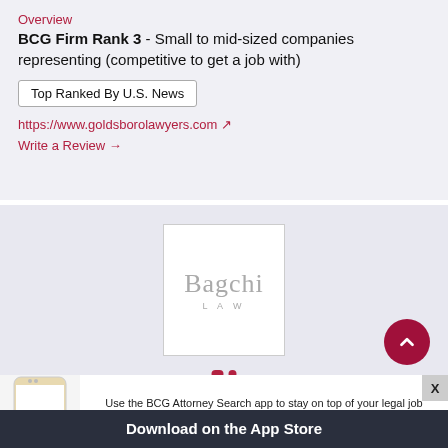Overview
BCG Firm Rank 3 - Small to mid-sized companies representing (competitive to get a job with)
Top Ranked By U.S. News
https://www.goldsborolawyers.com ↗
Write a Review →
[Figure (logo): Bagchi Law firm logo — square border with grey text 'Bagchi' large and 'LAW' in small spaced letters below]
Use the BCG Attorney Search app to stay on top of your legal job search wherever you are.
Download on the App Store